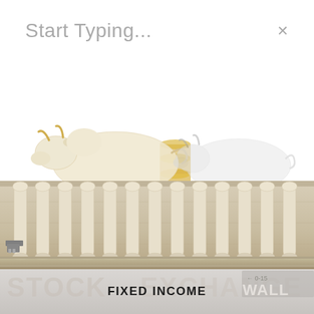Start Typing...
[Figure (illustration): Two stylized bull figurines facing left — a golden/cream-colored bull in the foreground and a silver/white bull behind it, with stacks of gold coins between them, on a white background]
[Figure (photo): Close-up photo of ornate stone or marble architectural columns/balustrades with a ledge, appearing to be from a classical building like a stock exchange, with faded overlaid text reading STOCK EXCHANGE and WALL STREET and a street sign showing 0-15]
FIXED INCOME